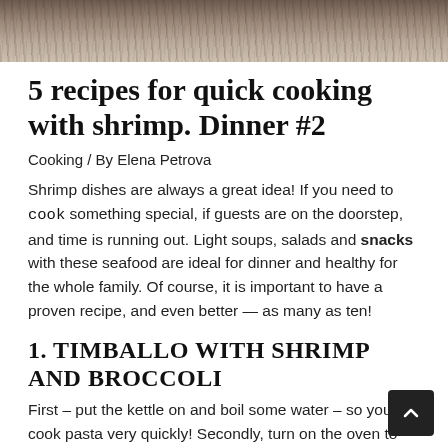[Figure (photo): Top portion of a food/cooking photo showing a dark dish on a wooden surface, partially cropped at the top of the page.]
5 recipes for quick cooking with shrimp. Dinner #2
Cooking / By Elena Petrova
Shrimp dishes are always a great idea! If you need to cook something special, if guests are on the doorstep, and time is running out. Light soups, salads and snacks with these seafood are ideal for dinner and healthy for the whole family. Of course, it is important to have a proven recipe, and even better — as many as ten!
1. TIMBALLO WITH SHRIMP AND BROCCOLI
First – put the kettle on and boil some water – so you will cook pasta very quickly! Secondly, turn on the oven to